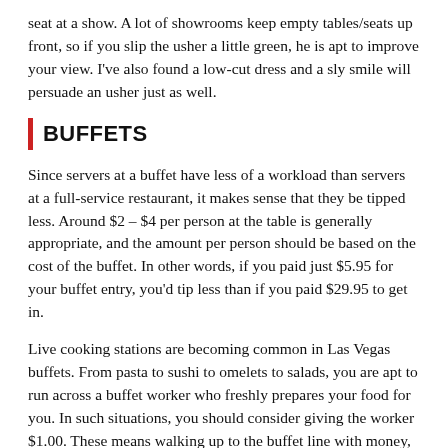seat at a show. A lot of showrooms keep empty tables/seats up front, so if you slip the usher a little green, he is apt to improve your view. I've also found a low-cut dress and a sly smile will persuade an usher just as well.
BUFFETS
Since servers at a buffet have less of a workload than servers at a full-service restaurant, it makes sense that they be tipped less. Around $2 – $4 per person at the table is generally appropriate, and the amount per person should be based on the cost of the buffet. In other words, if you paid just $5.95 for your buffet entry, you'd tip less than if you paid $29.95 to get in.
Live cooking stations are becoming common in Las Vegas buffets. From pasta to sushi to omelets to salads, you are apt to run across a buffet worker who freshly prepares your food for you. In such situations, you should consider giving the worker $1.00. These means walking up to the buffet line with money, though, so you'll have to plan ahead. I've been known to swing back by the station on my next trip to the buffet line so I can leave a tip, since I usually leave my purse at the table and am not all that good at planning ahead.